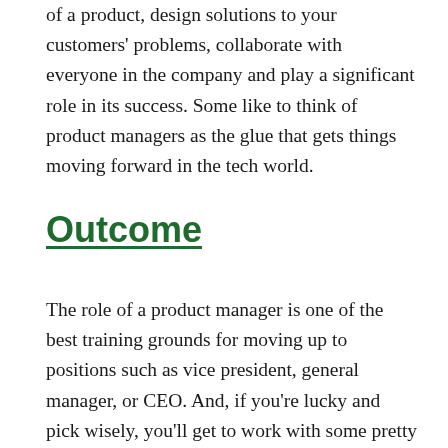of a product, design solutions to your customers' problems, collaborate with everyone in the company and play a significant role in its success. Some like to think of product managers as the glue that gets things moving forward in the tech world.
Outcome
The role of a product manager is one of the best training grounds for moving up to positions such as vice president, general manager, or CEO. And, if you're lucky and pick wisely, you'll get to work with some pretty talented engineering and development teams to create products that delight your customers,